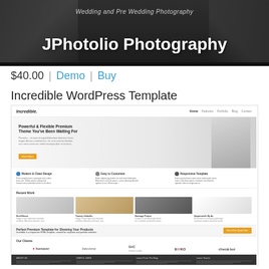[Figure (screenshot): Hero banner for JPhotolio Photography WordPress theme showing gray-toned wedding/nature background with large bold white title text reading 'JPhotolio Photography' and subtitle 'Wedding and Pre Wedding Photography']
$40.00  |  Demo  |  Buy
Incredible WordPress Template
[Figure (screenshot): Screenshot of the Incredible WordPress theme showing: navigation bar with logo, hero section with 'Powerful & Flexible Premium Theme You've Been Waiting For' headline and man in suit photo, three feature columns (Modern & Clean Design, Easy to Customize, Responsive Template), Recent Work portfolio grid with 4 items, a CTA banner 'Perfect Premium Template for Showing Your Products', Our Clients section with 5 logos (Humacer, become, SHC Vision Labs, BEKO, checkout), and dark footer bar with four columns.]